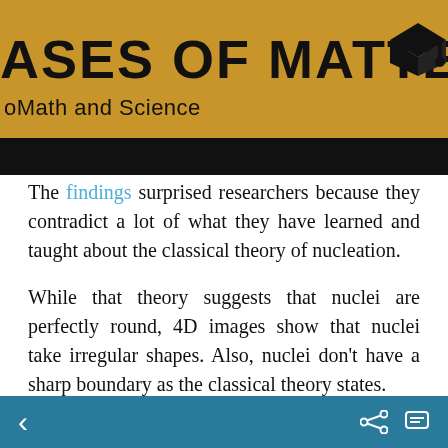[Figure (screenshot): Gold banner with 'ASES OF MATTER' title text, subtitle 'oMath and Science', black bar below, partial mortar board icon top right]
The findings surprised researchers because they contradict a lot of what they have learned and taught about the classical theory of nucleation.
While that theory suggests that nuclei are perfectly round, 4D images show that nuclei take irregular shapes. Also, nuclei don't have a sharp boundary as the classical theory states.
Each nucleus contains a [heart icon] that had changed phase,
< [back] [share] [comment]